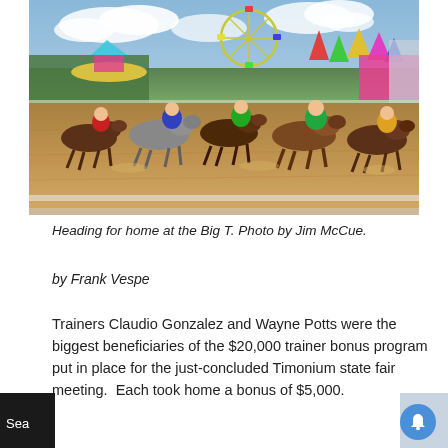[Figure (photo): Horse race at the Timonium state fair (Big T). Multiple jockeys on horses racing along a dirt track, with a ferris wheel, colorful tents, and fairground rides visible in the background under a partly cloudy sky.]
Heading for home at the Big T. Photo by Jim McCue.
by Frank Vespe
Trainers Claudio Gonzalez and Wayne Potts were the biggest beneficiaries of the $20,000 trainer bonus program put in place for the just-concluded Timonium state fair meeting.  Each took home a bonus of $5,000.